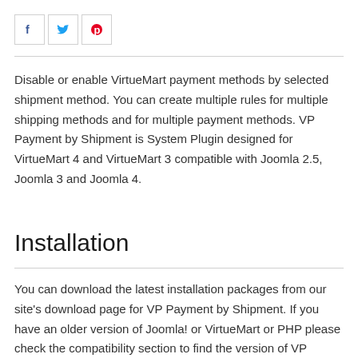[Figure (other): Three social media icon buttons (Facebook, Twitter, Pinterest) in bordered square boxes]
Disable or enable VirtueMart payment methods by selected shipment method. You can create multiple rules for multiple shipping methods and for multiple payment methods. VP Payment by Shipment is System Plugin designed for VirtueMart 4 and VirtueMart 3 compatible with Joomla 2.5, Joomla 3 and Joomla 4.
Installation
You can download the latest installation packages from our site's download page for VP Payment by Shipment. If you have an older version of Joomla! or VirtueMart or PHP please check the compatibility section to find the version of VP Payment by